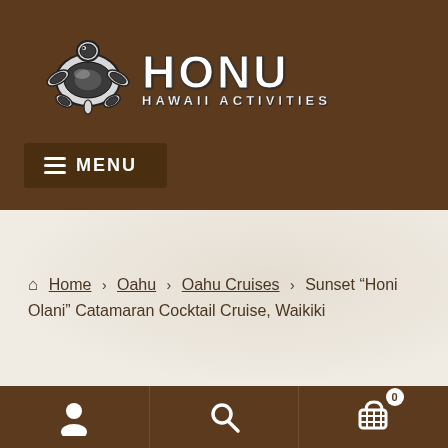[Figure (logo): Honu Hawaii Activities logo with sea turtle graphic and text 'HONU HAWAII ACTIVITIES']
≡ MENU
Home › Oahu › Oahu Cruises › Sunset "Honi Olani" Catamaran Cocktail Cruise, Waikiki
[Figure (infographic): Footer navigation bar with user icon, search icon, and shopping cart icon with badge showing 0]